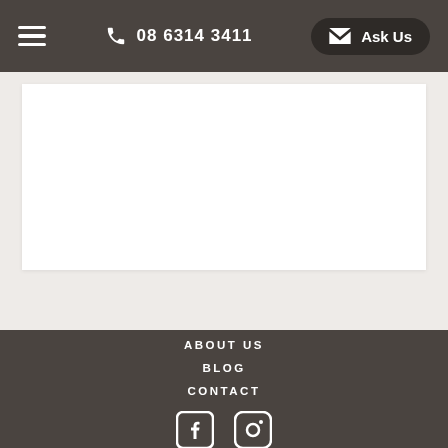☰  08 6314 3411  Ask Us
[Figure (screenshot): White rectangular content area on a light grey background]
ABOUT US
BLOG
CONTACT
[Figure (infographic): Facebook and Instagram social media icons in white on dark brown footer]